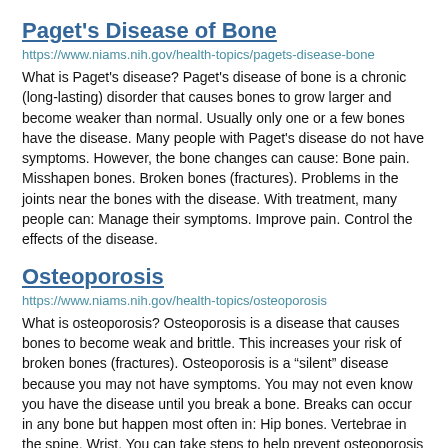Paget's Disease of Bone
https://www.niams.nih.gov/health-topics/pagets-disease-bone
What is Paget's disease? Paget's disease of bone is a chronic (long-lasting) disorder that causes bones to grow larger and become weaker than normal. Usually only one or a few bones have the disease. Many people with Paget's disease do not have symptoms. However, the bone changes can cause: Bone pain. Misshapen bones. Broken bones (fractures). Problems in the joints near the bones with the disease. With treatment, many people can: Manage their symptoms. Improve pain. Control the effects of the disease.
Osteoporosis
https://www.niams.nih.gov/health-topics/osteoporosis
What is osteoporosis? Osteoporosis is a disease that causes bones to become weak and brittle. This increases your risk of broken bones (fractures). Osteoporosis is a “silent” disease because you may not have symptoms. You may not even know you have the disease until you break a bone. Breaks can occur in any bone but happen most often in: Hip bones. Vertebrae in the spine. Wrist. You can take steps to help prevent osteoporosis and broken bones by: Doing weight-bearing exercises, such as walking or dancing, and lifting weights. Not drinking too much alcohol. Quitting smoking, or not starting if